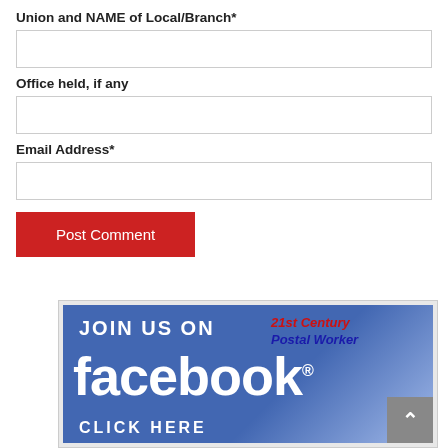Union and NAME of Local/Branch*
Office held, if any
Email Address*
Post Comment
[Figure (illustration): Facebook banner with 'JOIN US ON facebook. CLICK HERE' and '21st Century Postal Worker' branding on a blue gradient background]